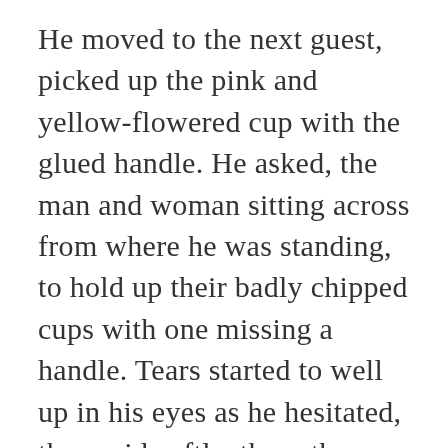He moved to the next guest, picked up the pink and yellow-flowered cup with the glued handle. He asked, the man and woman sitting across from where he was standing, to hold up their badly chipped cups with one missing a handle. Tears started to well up in his eyes as he hesitated, then said softly, these three teacups were used by those who had lost more than you could ever imagine.  My mother would invite them into our home and